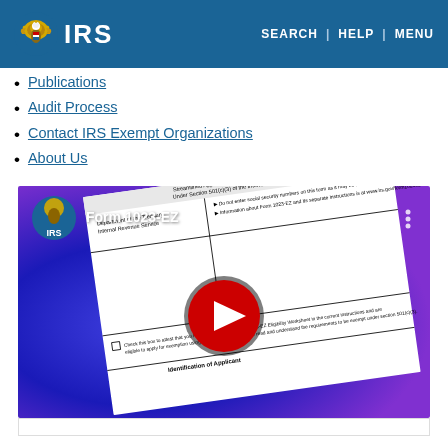IRS | SEARCH | HELP | MENU
Publications
Audit Process
Contact IRS Exempt Organizations
About Us
[Figure (screenshot): YouTube video thumbnail showing Form 1023-EZ with IRS branding and a red YouTube play button overlay on a blue background. The form text reads 'Streamlined Application for Recognition of Exemption Under Section 501(c)(3) of the Internal Revenue Code', 'Department of the Treasury Internal Revenue Service', 'Do not enter social security numbers on this form as it may be made public', 'Check this box to attest that you have completed the Form 1023-EZ Eligibility Worksheet in the current instructions and are eligible to apply for exemption using Form 1023-EZ, and have read and understand the requirements to be exempt under section 501(c)(3)', 'Identification of Applicant']